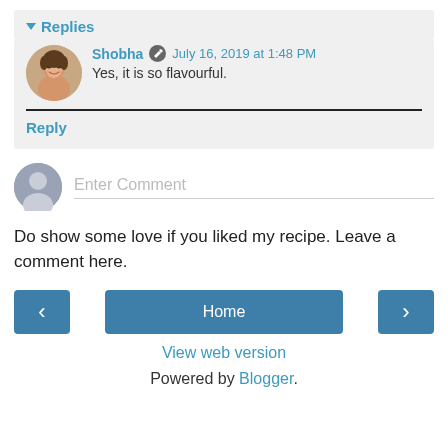▾ Replies
Shobha  July 16, 2019 at 1:48 PM
Yes, it is so flavourful.
Reply
[Figure (other): Comment input area with anonymous user avatar and 'Enter Comment' placeholder text]
Do show some love if you liked my recipe. Leave a comment here.
[Figure (other): Navigation buttons: left arrow, Home, right arrow]
View web version
Powered by Blogger.